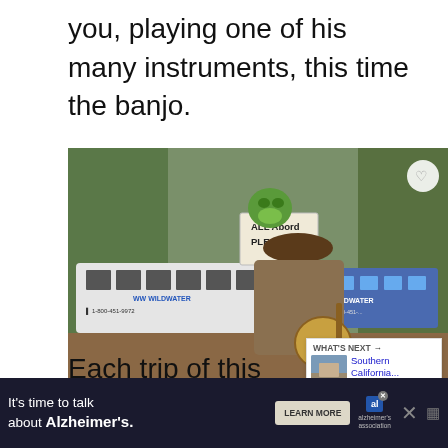you, playing one of his many instruments, this time the banjo.
[Figure (photo): A man wearing a plaid shirt and burgundy beanie playing a banjo outdoors, with Kermit the Frog puppet on his shoulder holding a sign reading 'ALL Abord PLEase'. Two white and blue Wildwater buses are visible in the background among trees. Heart and share icons on the right side. Like count: 1.]
Each trip of this level has a
along as well as 2-3 very
[Figure (photo): What's Next thumbnail showing Southern California image]
WHAT'S NEXT → Southern California...
It's time to talk about Alzheimer's.
LEARN MORE
al
alzheimer's association